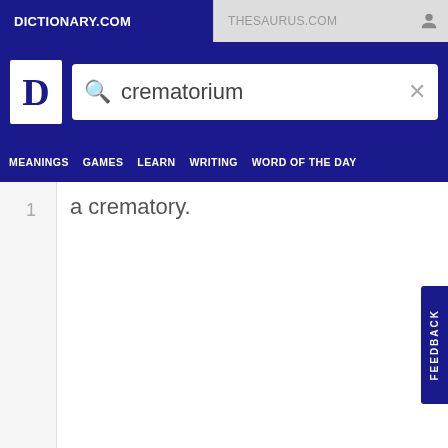DICTIONARY.COM
THESAURUS.COM
crematorium
MEANINGS   GAMES   LEARN   WRITING   WORD OF THE DAY
1  a crematory.